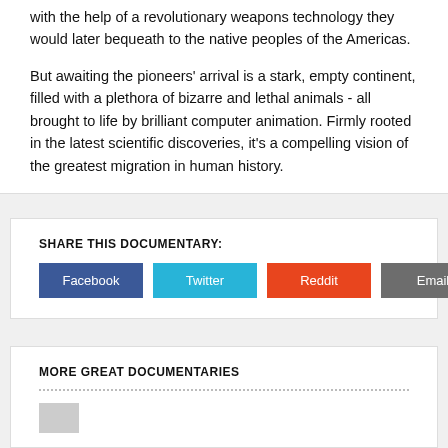with the help of a revolutionary weapons technology they would later bequeath to the native peoples of the Americas.
But awaiting the pioneers' arrival is a stark, empty continent, filled with a plethora of bizarre and lethal animals - all brought to life by brilliant computer animation. Firmly rooted in the latest scientific discoveries, it's a compelling vision of the greatest migration in human history.
SHARE THIS DOCUMENTARY:
Facebook  Twitter  Reddit  Email
MORE GREAT DOCUMENTARIES